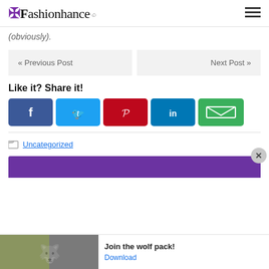Fashionhance
(obviously).
« Previous Post
Next Post »
Like it? Share it!
[Figure (infographic): Social share buttons: Facebook (blue), Twitter (light blue), Pinterest (red), LinkedIn (dark blue), Email (green)]
Uncategorized
[Figure (infographic): Purple promotional banner with close (X) button]
[Figure (photo): Ad banner: wolf pack photo with text 'Join the wolf pack!' and Download link]